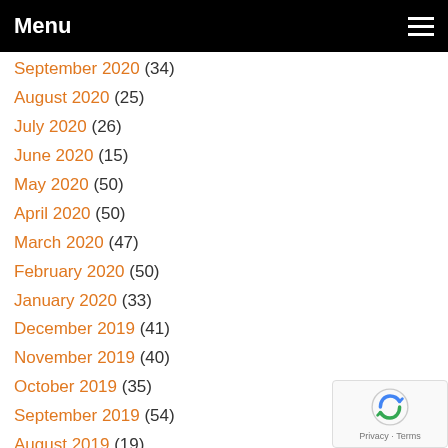Menu
September 2020 (34)
August 2020 (25)
July 2020 (26)
June 2020 (15)
May 2020 (50)
April 2020 (50)
March 2020 (47)
February 2020 (50)
January 2020 (33)
December 2019 (41)
November 2019 (40)
October 2019 (35)
September 2019 (54)
August 2019 (19)
July 2019 (26)